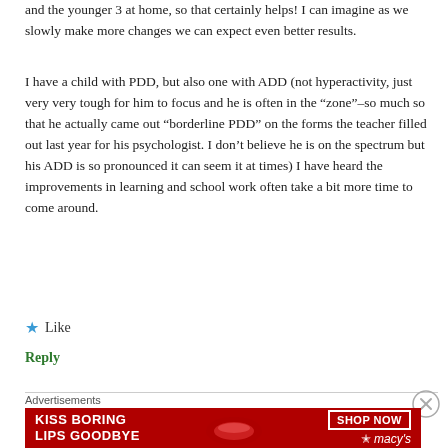and the younger 3 at home, so that certainly helps! I can imagine as we slowly make more changes we can expect even better results.
I have a child with PDD, but also one with ADD (not hyperactivity, just very very tough for him to focus and he is often in the “zone”–so much so that he actually came out “borderline PDD” on the forms the teacher filled out last year for his psychologist. I don’t believe he is on the spectrum but his ADD is so pronounced it can seem it at times) I have heard the improvements in learning and school work often take a bit more time to come around.
★ Like
Reply
[Figure (screenshot): Advertisement banner for Macy's with red background, showing a woman's face, text 'KISS BORING LIPS GOODBYE', 'SHOP NOW' button, and Macy's star logo]